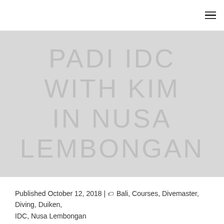PADI IDC WITH KIM IN NUSA LEMBONGAN
Published October 12, 2018 | 🏷 Bali, Courses, Divemaster, Diving, Duiken, IDC, Nusa Lembongan